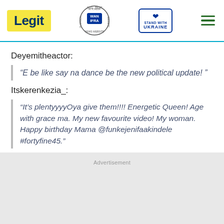Legit — WAN-IFRA 2021 Best News Website in Africa — Stand with Ukraine
Deyemitheactor:
“E be like say na dance be the new political update! ”
Itskerenkezia_:
“It’s plentyyyyOya give them!!!! Energetic Queen! Age with grace ma. My new favourite video! My woman. Happy birthday Mama @funkejenifaakindele #fortyfine45.”
Advertisement